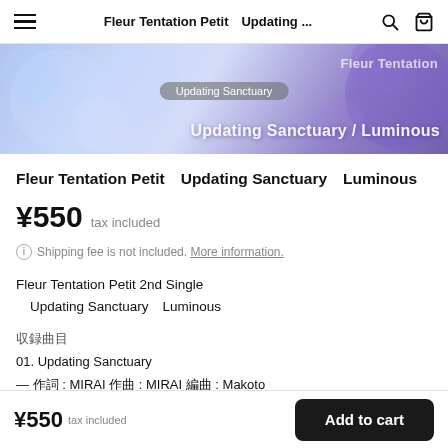Fleur Tentation Petit　Updating ...
[Figure (photo): Hero banner image with blue/purple gradient and floral/sparkle background. Text overlay reads 'Fleur Tentation' at top right and 'Updating Sanctuary / Luminous' at bottom right. A grey pill/badge with 'Updating Sanctuary' text appears in the center.]
Fleur Tentation Petit　Updating Sanctuary　Luminous
¥550  tax included
Shipping fee is not included. More information.
Fleur Tentation Petit 2nd Single
　Updating Sanctuary　Luminous
収録曲目
01. Updating Sanctuary
— 作詞 : MIRAI 作曲 : MIRAI 編曲 : Makoto
02. Luminous
¥550  tax included
Add to cart